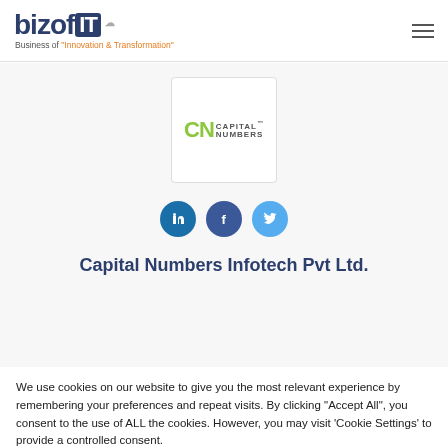[Figure (logo): bizofIT logo — 'bizof' in dark navy, 'IT' in white on navy block, cloud icon, tagline: Business of 'Innovation & Transformation']
[Figure (logo): Capital Numbers logo — CN letters in green, CAPITAL NUMBERS text, TM mark]
[Figure (infographic): Three social media icons: LinkedIn (blue), Facebook (dark blue), Twitter (light blue)]
Capital Numbers Infotech Pvt Ltd.
We use cookies on our website to give you the most relevant experience by remembering your preferences and repeat visits. By clicking "Accept All", you consent to the use of ALL the cookies. However, you may visit 'Cookie Settings' to provide a controlled consent.
Cookie Settings | Accept All